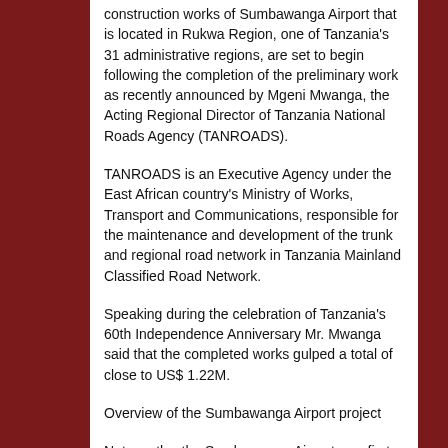construction works of Sumbawanga Airport that is located in Rukwa Region, one of Tanzania's 31 administrative regions, are set to begin following the completion of the preliminary work as recently announced by Mgeni Mwanga, the Acting Regional Director of Tanzania National Roads Agency (TANROADS).
TANROADS is an Executive Agency under the East African country's Ministry of Works, Transport and Communications, responsible for the maintenance and development of the trunk and regional road network in Tanzania Mainland Classified Road Network.
Speaking during the celebration of Tanzania's 60th Independence Anniversary Mr. Mwanga said that the completed works gulped a total of close to US$ 1.22M.
Overview of the Sumbawanga Airport project
Noteworthy, the Sumbawanga Airport was first built after the Second World War with the of an aerodrome, and plans for its modernization/redevelopment were born approximately 10 years ago by the Tanzanian government with a view of making it a pole of economic development, capable of developing, in particular, the agricultural and tourist potential